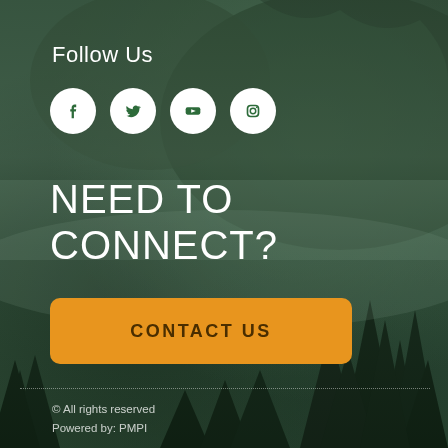[Figure (illustration): Dark misty forest background with evergreen trees and fog, dark green tones]
Follow Us
[Figure (infographic): Four white circular social media icons: Facebook, Twitter, YouTube, Instagram]
NEED TO CONNECT?
CONTACT US
© All rights reserved
Powered by: PMPI